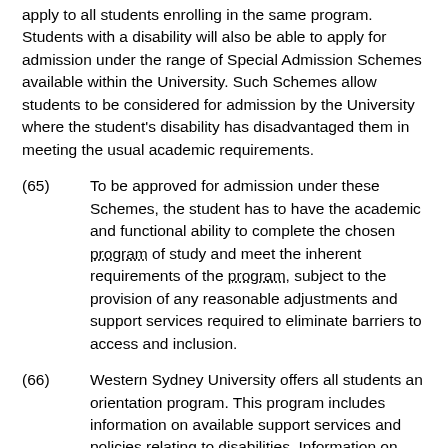apply to all students enrolling in the same program. Students with a disability will also be able to apply for admission under the range of Special Admission Schemes available within the University. Such Schemes allow students to be considered for admission by the University where the student's disability has disadvantaged them in meeting the usual academic requirements.
(65) To be approved for admission under these Schemes, the student has to have the academic and functional ability to complete the chosen program of study and meet the inherent requirements of the program, subject to the provision of any reasonable adjustments and support services required to eliminate barriers to access and inclusion.
(66) Western Sydney University offers all students an orientation program. This program includes information on available support services and policies relating to disabilities. Information on services to assist students with disabilities will be